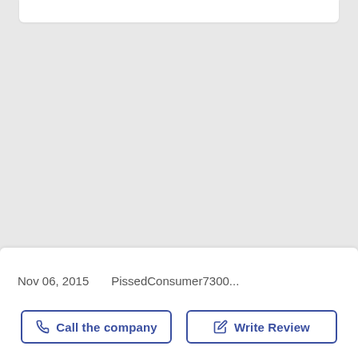Advertisements
Nov 06, 2015    PissedConsumer7300...
Call the company
Write Review